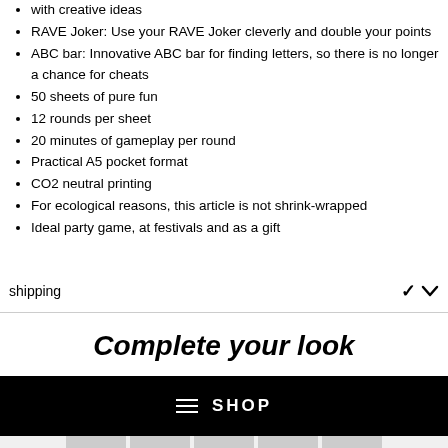with creative ideas
RAVE Joker: Use your RAVE Joker cleverly and double your points
ABC bar: Innovative ABC bar for finding letters, so there is no longer a chance for cheats
50 sheets of pure fun
12 rounds per sheet
20 minutes of gameplay per round
Practical A5 pocket format
CO2 neutral printing
For ecological reasons, this article is not shrink-wrapped
Ideal party game, at festivals and as a gift
shipping
Complete your look
[Figure (screenshot): Black banner with hamburger menu icon and SHOP text in white letters]